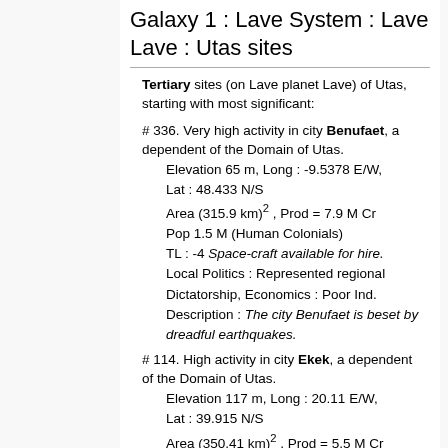Galaxy 1 : Lave System : Lave Lave : Utas sites
Tertiary sites (on Lave planet Lave) of Utas, starting with most significant:
# 336. Very high activity in city Benufaet, a dependent of the Domain of Utas.
Elevation 65 m, Long : -9.5378 E/W, Lat : 48.433 N/S
Area (315.9 km)^2 , Prod = 7.9 M Cr
Pop 1.5 M (Human Colonials)
TL : -4 Space-craft available for hire.
Local Politics : Represented regional Dictatorship, Economics : Poor Ind.
Description : The city Benufaet is beset by dreadful earthquakes.
# 114. High activity in city Ekek, a dependent of the Domain of Utas.
Elevation 117 m, Long : 20.11 E/W, Lat : 39.915 N/S
Area (350.41 km)^2 , Prod = 5.5 M Cr